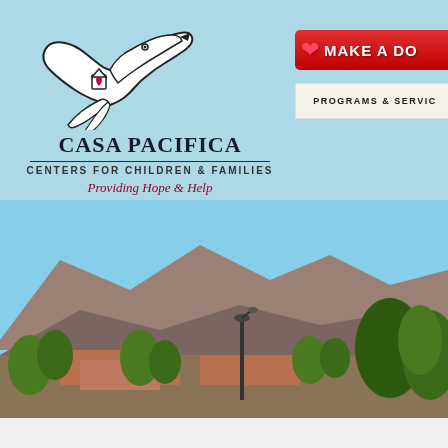[Figure (logo): Casa Pacifica logo featuring a stylized bird/dove outline with a small red heart, above the organization name]
CASA PACIFICA
CENTERS FOR CHILDREN & FAMILIES
Providing Hope & Help
[Figure (other): Red donate button with heart icon and text 'MAKE A DO[NATION]']
[Figure (other): Beige/cream navigation button with text 'PROGRAMS & SERVIC[ES]']
[Figure (photo): Outdoor campus photo showing mountains in the background under a blue sky, trees, a street lamp, and brick buildings]